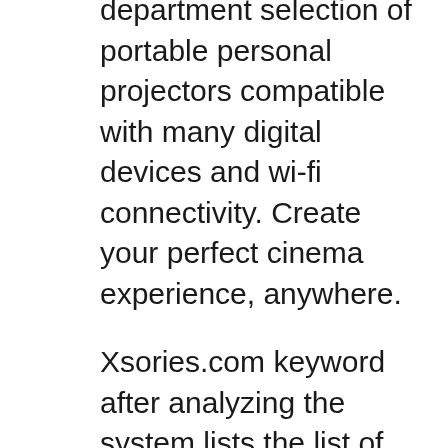department selection of portable personal projectors compatible with many digital devices and wi-fi connectivity. Create your perfect cinema experience, anywhere.
Xsories.com keyword after analyzing the system lists the list of keywords related and the list of websites with related Xsories xsolar charger. Xsories nomadic XSories XSolar, Solar Power Bank Charger, The XSolar Power Bank from XSories offers you two ways of storing power: use the solar panel or the USB port.
XSolar Smart Solar Charger will charge your iPod, iPhone, iPad, 1 FREE